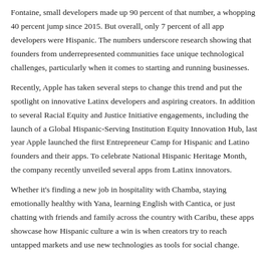Fontaine, small developers made up 90 percent of that number, a whopping 40 percent jump since 2015. But overall, only 7 percent of all app developers were Hispanic. The numbers underscore research showing that founders from underrepresented communities face unique technological challenges, particularly when it comes to starting and running businesses.
Recently, Apple has taken several steps to change this trend and put the spotlight on innovative Latinx developers and aspiring creators. In addition to several Racial Equity and Justice Initiative engagements, including the launch of a Global Hispanic-Serving Institution Equity Innovation Hub, last year Apple launched the first Entrepreneur Camp for Hispanic and Latino founders and their apps. To celebrate National Hispanic Heritage Month, the company recently unveiled several apps from Latinx innovators.
Whether it's finding a new job in hospitality with Chamba, staying emotionally healthy with Yana, learning English with Cantica, or just chatting with friends and family across the country with Caribu, these apps showcase how Hispanic culture a win is when creators try to reach untapped markets and use new technologies as tools for social change.